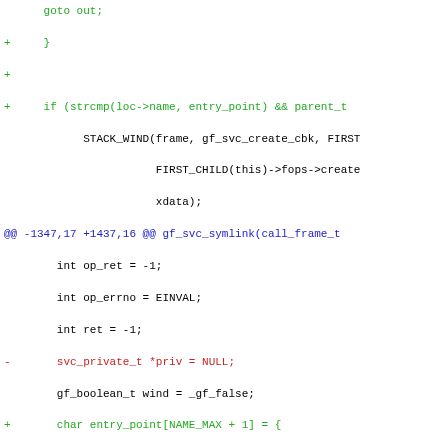[Figure (other): Diff/patch view of C source code showing additions (green +), deletions (red -), and context lines (black), with hunk headers in blue. The code relates to gf_svc_symlink and gf_svc_create functions.]